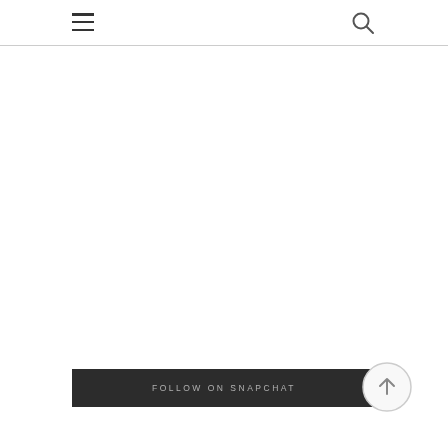FOLLOW ON SNAPCHAT
[Figure (other): Scroll-to-top circular button with upward arrow]